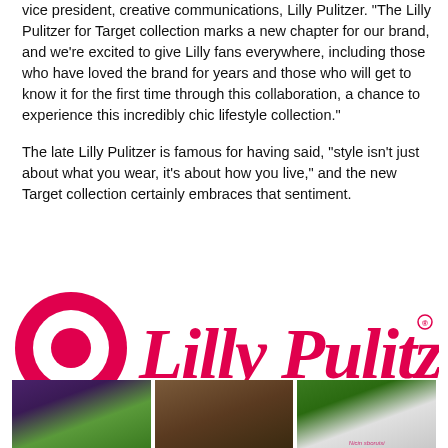vice president, creative communications, Lilly Pulitzer. “The Lilly Pulitzer for Target collection marks a new chapter for our brand, and we’re excited to give Lilly fans everywhere, including those who have loved the brand for years and those who will get to know it for the first time through this collaboration, a chance to experience this incredibly chic lifestyle collection.”
The late Lilly Pulitzer is famous for having said, “style isn’t just about what you wear, it’s about how you live,” and the new Target collection certainly embraces that sentiment.
[Figure (logo): Target bullseye logo and Lilly Pulitzer script logo in hot pink, side by side]
[Figure (photo): Three small photos showing event or store displays related to the Lilly Pulitzer for Target collaboration]